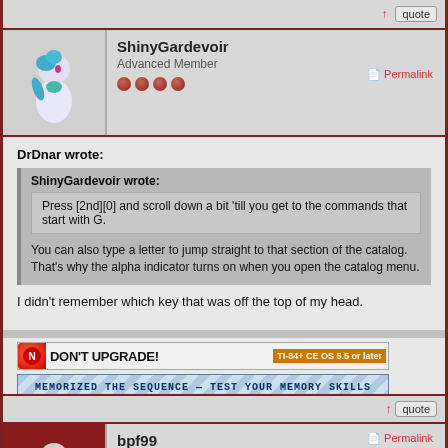↑ quote
ShinyGardevoir
Advanced Member
Permalink
DrDnar wrote:
ShinyGardevoir wrote:
Press [2nd][0] and scroll down a bit 'till you get to the commands that start with G.
You can also type a letter to jump straight to that section of the catalog. That's why the alpha indicator turns on when you open the catalog menu.
I didn't remember which key that was off the top of my head.
[Figure (infographic): Two forum banner ads: 'DON'T UPGRADE! TI-84+ CE OS 5.5 or later' and 'MEMORIZED THE SEQUENCE — TEST YOUR MEMORY SKILLS']
↑ quote
bpf99
Newbie
Permalink